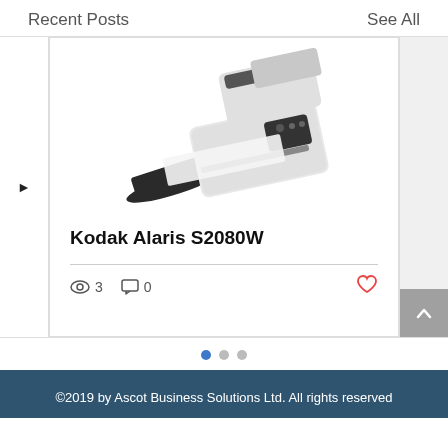Recent Posts
See All
[Figure (photo): Photo of a Kodak Alaris S2080W document scanner, white body with black paper tray, shown at an angle.]
Kodak Alaris S2080W
3 views, 0 comments, 0 likes
©2019 by Ascot Business Solutions Ltd. All rights reserved